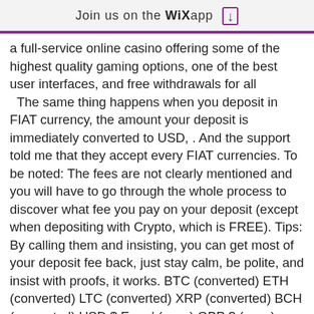Join us on the WiX app ↓
a full-service online casino offering some of the highest quality gaming options, one of the best user interfaces, and free withdrawals for all
  The same thing happens when you deposit in FIAT currency, the amount your deposit is immediately converted to USD, . And the support told me that they accept every FIAT currencies. To be noted: The fees are not clearly mentioned and you will have to go through the whole process to discover what fee you pay on your deposit (except when depositing with Crypto, which is FREE). Tips: By calling them and insisting, you can get most of your deposit fee back, just stay calm, be polite, and insist with proofs, it works. BTC (converted) ETH (converted) LTC (converted) XRP (converted) BCH (converted) USD $ Euro ' (conv) GBP ? (conv) Canadian$ (conv) Rupee ? (conv) All